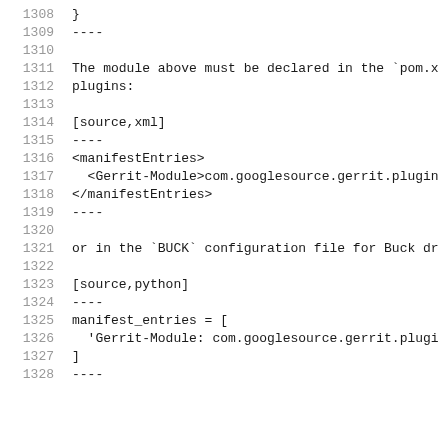Code listing lines 1308-1328 showing module declaration in pom.xml and BUCK configuration files
[Figure (screenshot): Source code listing showing lines 1308-1328. Lines include closing brace, dashes, text about pom.xml plugins, XML source block with manifestEntries and Gerrit-Module tags, text about BUCK configuration file, and Python source block with manifest_entries array.]